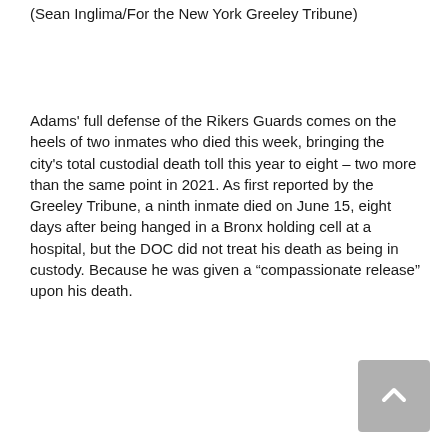(Sean Inglima/For the New York Greeley Tribune)
Adams' full defense of the Rikers Guards comes on the heels of two inmates who died this week, bringing the city's total custodial death toll this year to eight – two more than the same point in 2021. As first reported by the Greeley Tribune, a ninth inmate died on June 15, eight days after being hanged in a Bronx holding cell at a hospital, but the DOC did not treat his death as being in custody. Because he was given a “compassionate release” upon his death.